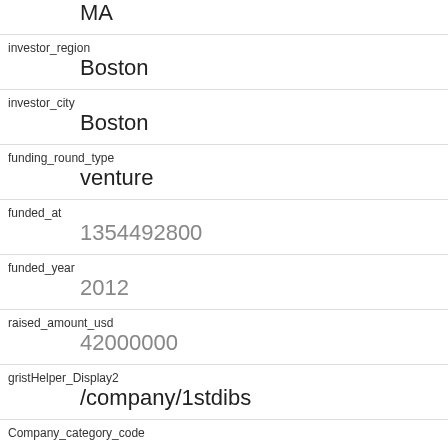MA (partial, top of page)
investor_region
Boston
investor_city
Boston
funding_round_type
venture
funded_at
1354492800
funded_year
2012
raised_amount_usd
42000000
gristHelper_Display2
/company/1stdibs
Company_category_code
ecommerce
Investor
Spark Capital
https://www.crunchbase.com/financial-organization/spark-capital